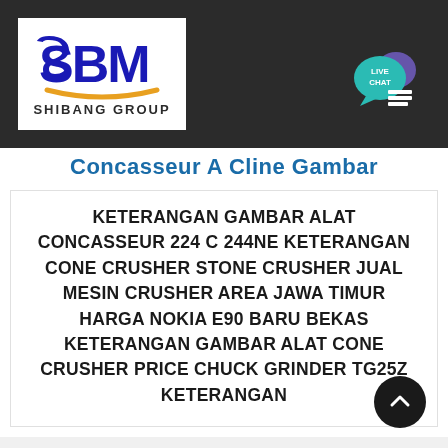[Figure (logo): SBM Shibang Group logo — blue SBM letters with yellow arc, white background]
[Figure (other): Live Chat button — teal speech bubble with LIVE CHAT text and purple bubble, top right of dark header]
Concasseur A Cline Gambar
KETERANGAN GAMBAR ALAT CONCASSEUR 224 C 244NE KETERANGAN CONE CRUSHER STONE CRUSHER JUAL MESIN CRUSHER AREA JAWA TIMUR HARGA NOKIA E90 BARU BEKAS KETERANGAN GAMBAR ALAT CONE CRUSHER PRICE CHUCK GRINDER TG25Z KETERANGAN
[Figure (other): Scroll-to-top circular button, dark/black, bottom right corner with upward chevron arrow]